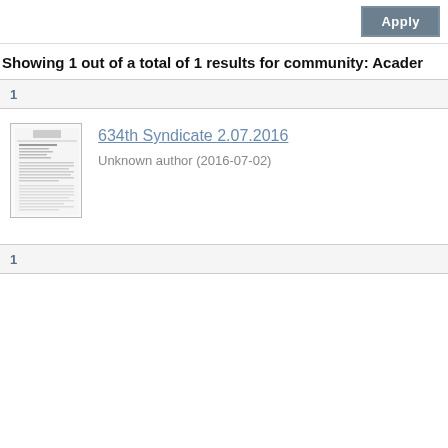[Figure (screenshot): Apply button in gray/blue style]
Showing 1 out of a total of 1 results for community: Acader
1
[Figure (photo): Thumbnail of document page for 634th Syndicate 2.07.2016]
634th Syndicate 2.07.2016
Unknown author (2016-07-02)
1